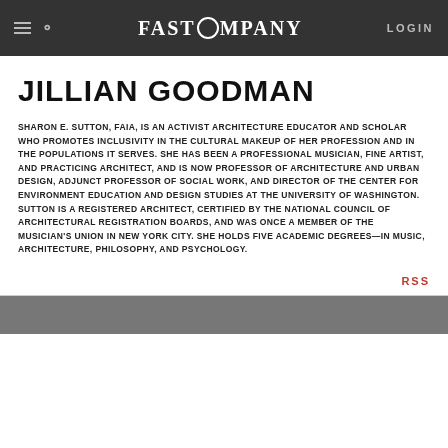FAST COMPANY  LOGIN
JILLIAN GOODMAN
SHARON E. SUTTON, FAIA, IS AN ACTIVIST ARCHITECTURE EDUCATOR AND SCHOLAR WHO PROMOTES INCLUSIVITY IN THE CULTURAL MAKEUP OF HER PROFESSION AND IN THE POPULATIONS IT SERVES. SHE HAS BEEN A PROFESSIONAL MUSICIAN, FINE ARTIST, AND PRACTICING ARCHITECT, AND IS NOW PROFESSOR OF ARCHITECTURE AND URBAN DESIGN, ADJUNCT PROFESSOR OF SOCIAL WORK, AND DIRECTOR OF THE CENTER FOR ENVIRONMENT EDUCATION AND DESIGN STUDIES AT THE UNIVERSITY OF WASHINGTON. SUTTON IS A REGISTERED ARCHITECT, CERTIFIED BY THE NATIONAL COUNCIL OF ARCHITECTURAL REGISTRATION BOARDS, AND WAS ONCE A MEMBER OF THE MUSICIAN'S UNION IN NEW YORK CITY. SHE HOLDS FIVE ACADEMIC DEGREES—IN MUSIC, ARCHITECTURE, PHILOSOPHY, AND PSYCHOLOGY.
RSS
[Figure (photo): Bottom portion of a webpage showing a partial photograph, partially visible at the bottom of the page.]